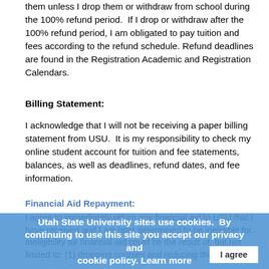them unless I drop them or withdraw from school during the 100% refund period.  If I drop or withdraw after the 100% refund period, I am obligated to pay tuition and fees according to the refund schedule. Refund deadlines are found in the Registration Academic and Registration Calendars.
Billing Statement:
I acknowledge that I will not be receiving a paper billing statement from USU.  It is my responsibility to check my online student account for tuition and fee statements, balances, as well as deadlines, refund dates, and fee information.
Financial Aid Repayment:
I agree to immediately return any financial aid to USU that I have received and I am later determined to be ineligible for.  Ineligibility for financial aid could be the result of, but not limited to: (1) dropping courses and reducing the
Utah State University sites use cookies.  By continuing to use this site you accept our privacy and cookie policy. Learn more